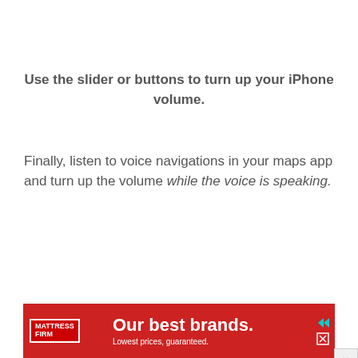Use the slider or buttons to turn up your iPhone volume.
Finally, listen to voice navigations in your maps app and turn up the volume while the voice is speaking.
[Figure (other): Mattress Firm advertisement banner: red background with white text 'Our best brands. Lowest prices, guaranteed.' with Mattress Firm logo on the left and media control icons on the right.]